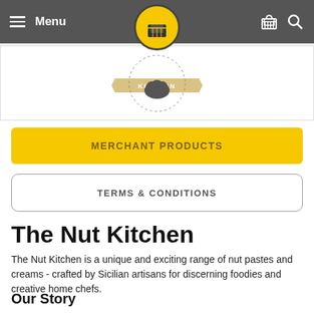Menu
[Figure (logo): The Nut Kitchen logo with chef hat and banner]
MERCHANT PRODUCTS
TERMS & CONDITIONS
The Nut Kitchen
The Nut Kitchen is a unique and exciting range of nut pastes and creams - crafted by Sicilian artisans for discerning foodies and creative home chefs.
Our Story
All our nut products are proudly made on the Italian island of Sicily, from the most carefully selected raw materials the region has to offer.